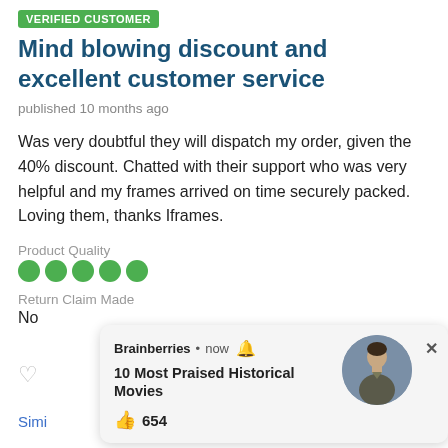VERIFIED CUSTOMER
Mind blowing discount and excellent customer service
published 10 months ago
Was very doubtful they will dispatch my order, given the 40% discount. Chatted with their support who was very helpful and my frames arrived on time securely packed. Loving them, thanks Iframes.
Product Quality
[Figure (other): 5 green filled circles representing product quality rating]
Return Claim Made
No
[Figure (other): Notification popup card from Brainberries showing '10 Most Praised Historical Movies' with 654 likes and a circular photo of a man in military attire]